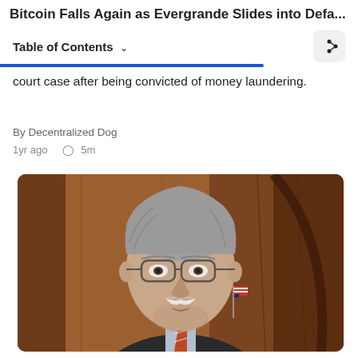Bitcoin Falls Again as Evergrande Slides into Defa...
Table of Contents
court case after being convicted of money laundering.
By Decentralized Dog
1yr ago  5m
[Figure (photo): Photo of a gray-haired man with a white mustache wearing glasses, a dark suit, and a striped tie, with an American flag visible in the background.]